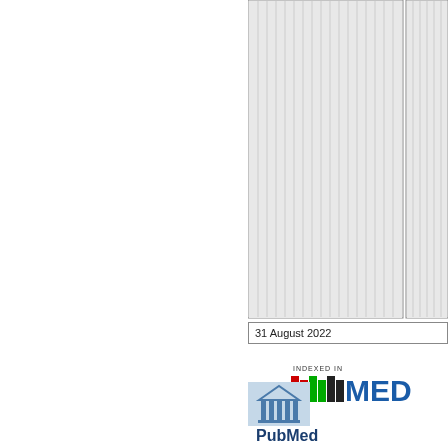[Figure (table-as-image): Partial view of a journal table/figure with striped gray columns, cut off at right edge]
31 August 2022
[Figure (logo): INDEXED IN MEDLINE logo with colored bars (red, green, black, blue) and 'MED' text in blue]
[Figure (logo): PubMed Central badge with blue border, grey left panel with building/pillar icon, and 'PubMed Central' text in dark blue bold]